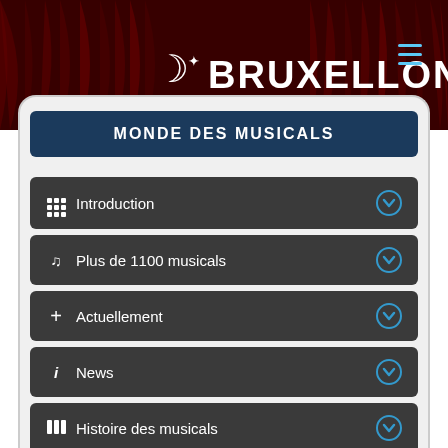[Figure (screenshot): Website header with red curtain background, star/crescent logo, and BRUXELLONS! branding in white text]
MONDE DES MUSICALS
Introduction
Plus de 1100 musicals
Actuellement
News
Histoire des musicals
Artistes
Lieux